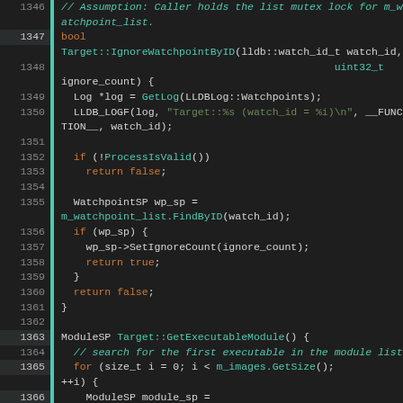[Figure (screenshot): Source code listing in a dark-theme code editor showing C++ code for Target::IgnoreWatchpointByID and Target::GetExecutableModule functions, lines 1346-1370.]